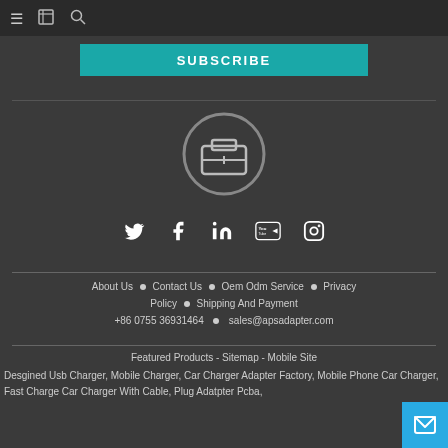≡ 📋 🔍
SUBSCRIBE
[Figure (logo): Circular logo with briefcase/toolbox icon in grey outline circle]
[Figure (illustration): Social media icons row: Twitter, Facebook, LinkedIn, YouTube, Instagram]
About Us • Contact Us • Oem Odm Service • Privacy Policy • Shipping And Payment
+86 0755 36931464 • sales@apsadapter.com
Featured Products - Sitemap - Mobile Site
Desgined Usb Charger, Mobile Charger, Car Charger Adapter Factory, Mobile Phone Car Charger, Fast Charge Car Charger With Cable, Plug Adatpter Pcba,